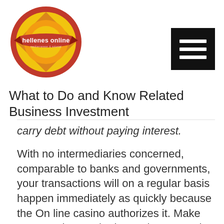[Figure (logo): Hellenes Online circular logo with red banner reading 'hellenes online' on a yellow and red geometric circle design]
What to Do and Know Related Business Investment
carry debt without paying interest.
With no intermediaries concerned, comparable to banks and governments, your transactions will on a regular basis happen immediately as quickly because the On line casino authorizes it. Make sure you be taught these phrases and are easy with them earlier than you sign up on any